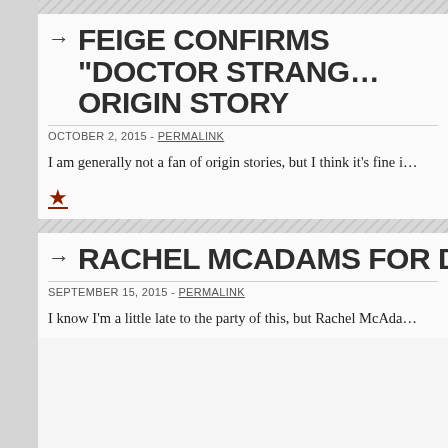FEIGE CONFIRMS “DOCTOR STRANGE” ORIGIN STORY
OCTOBER 2, 2015 - permalink
I am generally not a fan of origin stories, but I think it’s fine i…
RACHEL MCADAMS FOR DOCTOR ST…
SEPTEMBER 15, 2015 - permalink
I know I’m a little late to the party of this, but Rachel McAda…